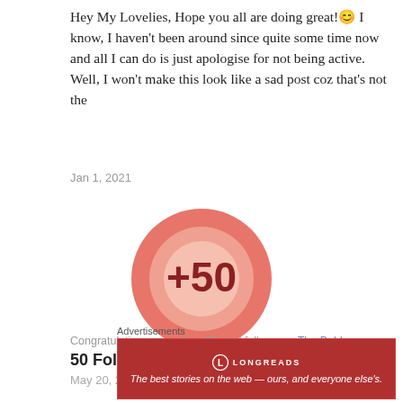Hey My Lovelies, Hope you all are doing great!😊 I know, I haven't been around since quite some time now and all I can do is just apologise for not being active. Well, I won't make this look like a sad post coz that's not the
Jan 1, 2021
[Figure (infographic): A coral/salmon-colored circular badge showing '+50' in the center, with a lighter inner circle, representing a milestone of 50 followers.]
Congratulations on getting 50 total follows on The Bold
50 Followers!!!
May 20, 2020
Advertisements
[Figure (screenshot): Longreads advertisement banner in dark red: logo circle with L, text LONGREADS, tagline 'The best stories on the web — ours, and everyone else's.']